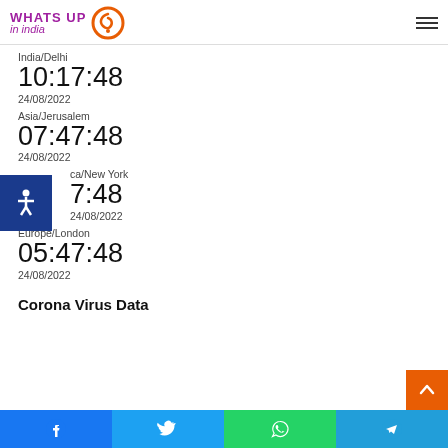WHATS UP in india
India/Delhi
10:17:48
24/08/2022
Asia/Jerusalem
07:47:48
24/08/2022
America/New York
01:47:48
24/08/2022
Europe/London
05:47:48
24/08/2022
Corona Virus Data
Facebook | Twitter | WhatsApp | Telegram